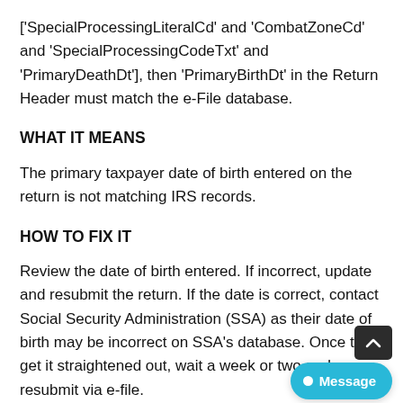['SpecialProcessingLiteralCd' and 'CombatZoneCd' and 'SpecialProcessingCodeTxt' and 'PrimaryDeathDt'], then 'PrimaryBirthDt' in the Return Header must match the e-File database.
WHAT IT MEANS
The primary taxpayer date of birth entered on the return is not matching IRS records.
HOW TO FIX IT
Review the date of birth entered. If incorrect, update and resubmit the return. If the date is correct, contact Social Security Administration (SSA) as their date of birth may be incorrect on SSA's database. Once they get it straightened out, wait a week or two and resubmit via e-file.